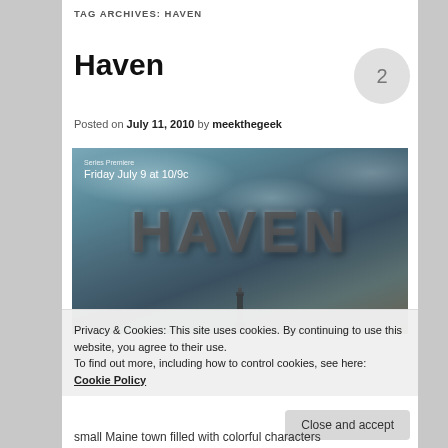TAG ARCHIVES: HAVEN
Haven
2
Posted on July 11, 2010 by meekthegeek
[Figure (photo): Haven TV series promotional image showing the HAVEN title in large metallic letters against a dramatic stormy sky, with text 'Series Premiere Friday July 9 at 10/9c']
Privacy & Cookies: This site uses cookies. By continuing to use this website, you agree to their use.
To find out more, including how to control cookies, see here: Cookie Policy
Close and accept
small Maine town filled with colorful characters